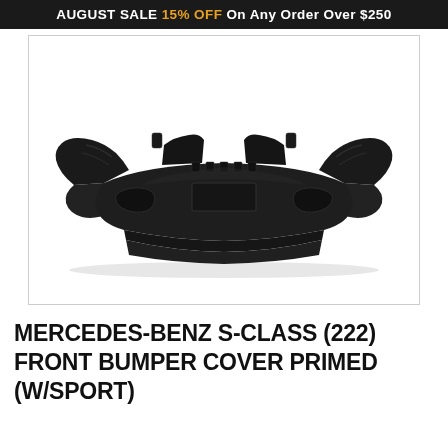AUGUST SALE 15% OFF On Any Order Over $250
[Figure (photo): Front view of a black plastic primed front bumper cover for Mercedes-Benz S-Class (222) with sport package, shown on white background]
MERCEDES-BENZ S-CLASS (222) FRONT BUMPER COVER PRIMED (W/SPORT)